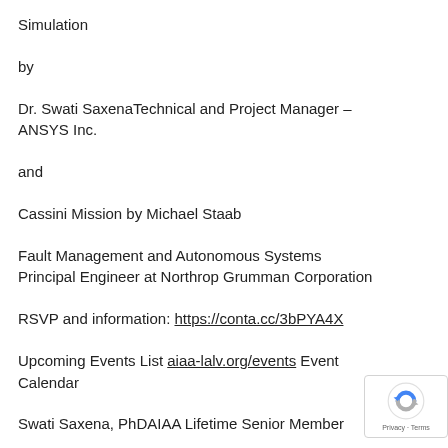Simulation
by
Dr. Swati SaxenaTechnical and Project Manager – ANSYS Inc.
and
Cassini Mission by Michael Staab
Fault Management and Autonomous Systems Principal Engineer at Northrop Grumman Corporation
RSVP and information: https://conta.cc/3bPYA4X
Upcoming Events List aiaa-lalv.org/events Event Calendar
Swati Saxena, PhDAIAA Lifetime Senior Member